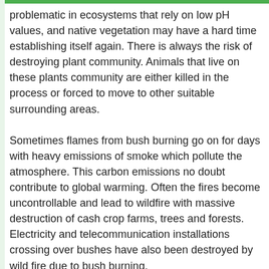problematic in ecosystems that rely on low pH values, and native vegetation may have a hard time establishing itself again. There is always the risk of destroying plant community. Animals that live on these plants community are either killed in the process or forced to move to other suitable surrounding areas.
Sometimes flames from bush burning go on for days with heavy emissions of smoke which pollute the atmosphere. This carbon emissions no doubt contribute to global warming. Often the fires become uncontrollable and lead to wildfire with massive destruction of cash crop farms, trees and forests. Electricity and telecommunication installations crossing over bushes have also been destroyed by wild fire due to bush burning.
It is understandable that the whole activity of farming is quite demanding, both in human and financial resources. This should not call for an